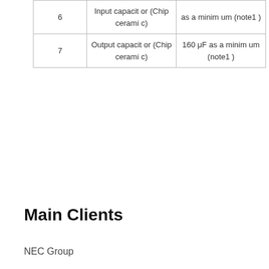|  |  |  |
| --- | --- | --- |
| 6 | Input capacitor (Chip ceramic) | as a minimum (note1) |
| 7 | Output capacitor (Chip ceramic) | 160μF as a minimum (note1) |
Main Clients
NEC Group